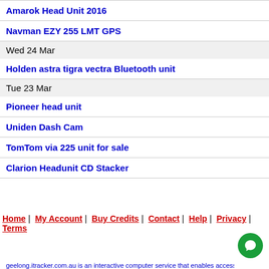Amarok Head Unit 2016
Navman EZY 255 LMT GPS
Wed 24 Mar
Holden astra tigra vectra Bluetooth unit
Tue 23 Mar
Pioneer head unit
Uniden Dash Cam
TomTom via 225 unit for sale
Clarion Headunit CD Stacker
Home | My Account | Buy Credits | Contact | Help | Privacy | Terms
geelong.itracker.com.au is an interactive computer service that enables access by